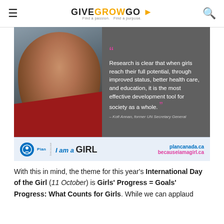GIVEGROWGO
Find a passion. Find a purpose.
[Figure (photo): A young girl in a red robe on the left half of the image. On the right chalkboard-textured half: a quote reading 'Research is clear that when girls reach their full potential, through improved status, better health care, and education, it is the most effective development tool for society as a whole.' – Kofi Annan, former UN Secretary General. Below: Plan Canada 'Because I am a Girl' logo with plancanada.ca and becauseiamagirl.ca URLs.]
With this in mind, the theme for this year's International Day of the Girl (11 October) is Girls' Progress = Goals' Progress: What Counts for Girls. While we can applaud